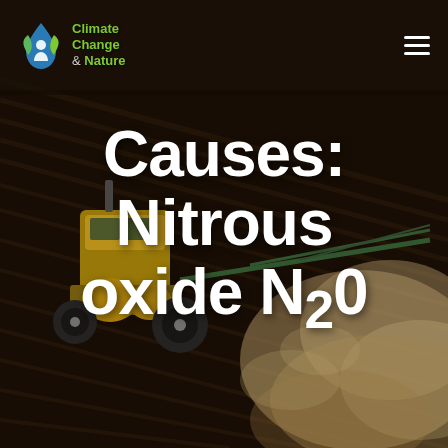[Figure (photo): Aerial view of a large agricultural sprayer/tractor spraying fertilizer or pesticide on a dark tilled field, with a large dust/spray cloud rising to the right side of the machine.]
Climate Change & Nature
Causes: Nitrous oxide N₂0